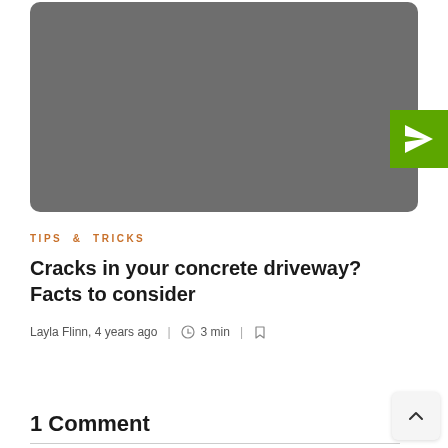[Figure (photo): A large gray placeholder image with rounded corners, with a green send/paper-plane button icon overlapping the bottom-right corner.]
TIPS & TRICKS
Cracks in your concrete driveway? Facts to consider
Layla Flinn, 4 years ago  |  3 min  |
1 Comment